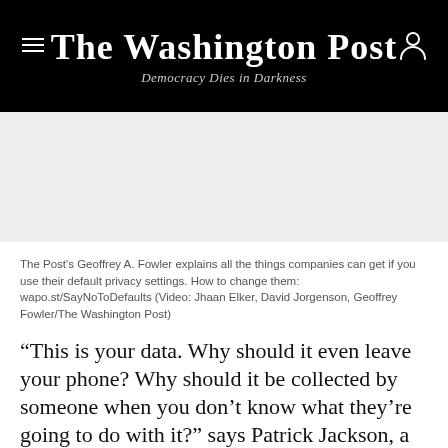The Washington Post
Democracy Dies in Darkness
[Figure (other): Gray advertisement/media placeholder area]
The Post's Geoffrey A. Fowler explains all the things companies can get if you use their default privacy settings. How to change them: wapo.st/SayNoToDefaults (Video: Jhaan Elker, David Jorgenson, Geoffrey Fowler/The Washington Post)
“This is your data. Why should it even leave your phone? Why should it be collected by someone when you don’t know what they’re going to do with it?” says Patrick Jackson, a former National Security Agency researcher who is chief technology officer for